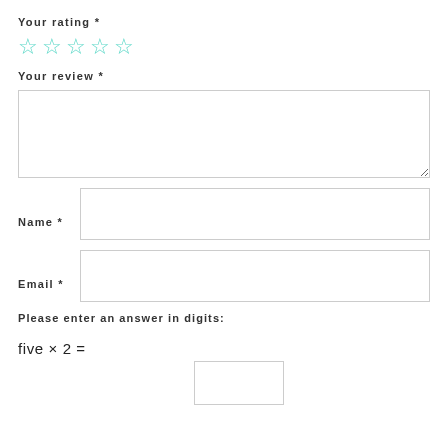Your rating *
[Figure (other): Five empty star icons in teal/cyan color representing a rating widget]
Your review *
[Figure (other): Large empty text area for writing a review]
Name *
[Figure (other): Single-line text input field for Name]
Email *
[Figure (other): Single-line text input field for Email]
Please enter an answer in digits:
[Figure (other): Small empty text input box for numeric answer]